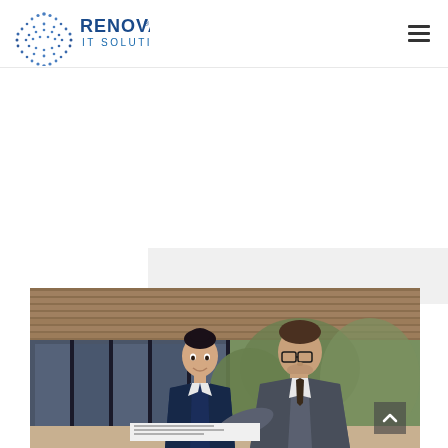Renova IT Solutions — Navigation header with logo and hamburger menu
[Figure (logo): Renova IT Solutions logo: globe icon made of dots on the left, text RENOVA in bold blue and IT SOLUTIONS in smaller blue letters]
[Figure (photo): Two business professionals, a woman in a navy blazer and a man in a grey suit with glasses, leaning over a table and looking at documents, photographed outdoors near a modern building with wooden slat ceiling]
[Figure (screenshot): Hamburger menu icon (three horizontal lines) in the top right corner of the navigation bar]